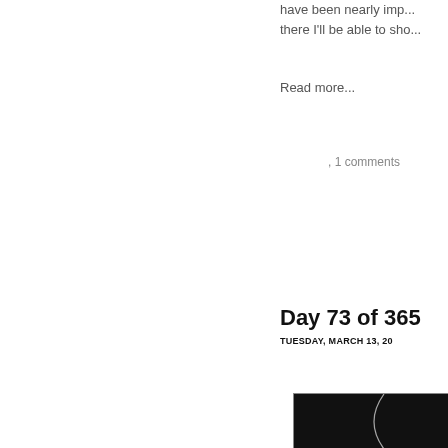have been nearly imp... there I'll be able to sho...
Read more...
, 1 comments
Day 73 of 365
TUESDAY, MARCH 13, 20
[Figure (photo): A dark/black photograph with a diagonal curved white line visible against the black background, partially cropped]